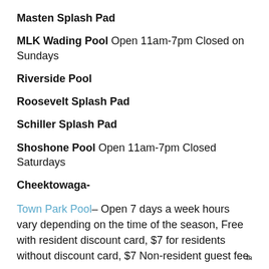Masten Splash Pad
MLK Wading Pool Open 11am-7pm Closed on Sundays
Riverside Pool
Roosevelt Splash Pad
Schiller Splash Pad
Shoshone Pool Open 11am-7pm Closed Saturdays
Cheektowaga-
Town Park Pool– Open 7 days a week hours vary depending on the time of the season, Free with resident discount card, $7 for residents without discount card, $7 Non-resident guest fee.
th